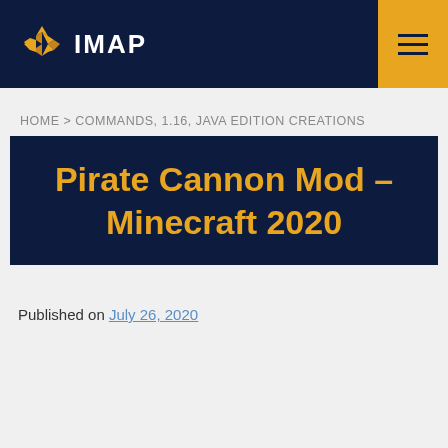IMAP
HOME > COMMANDS, 1.16, JAVA EDITION CREATIONS
Pirate Cannon Mod – Minecraft 2020
Published on July 26, 2020